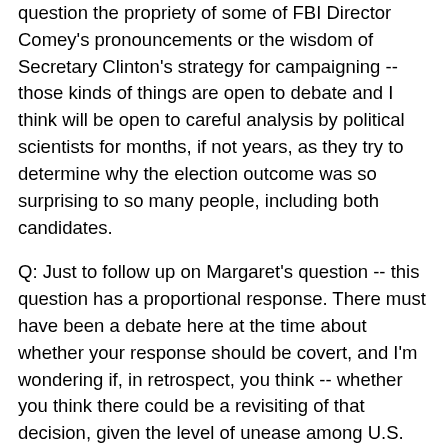question the propriety of some of FBI Director Comey's pronouncements or the wisdom of Secretary Clinton's strategy for campaigning -- those kinds of things are open to debate and I think will be open to careful analysis by political scientists for months, if not years, as they try to determine why the election outcome was so surprising to so many people, including both candidates.
Q: Just to follow up on Margaret's question -- this question has a proportional response. There must have been a debate here at the time about whether your response should be covert, and I'm wondering if, in retrospect, you think -- whether you think there could be a revisiting of that decision, given the level of unease among U.S. citizens about what's happened, and level of unease in democracies like Sweden and Germany, where people believe that their system of government is under threat.
MR. EARNEST: Well, listen, I think what I will acknowledge is that there are a variety of policy questions that are raised in the United States and in democracies around the world based on what transpired in the United States on Election Day, and in